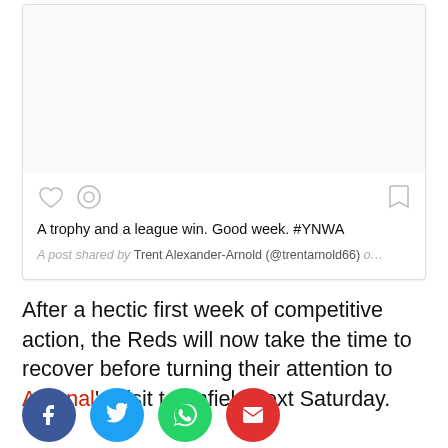[Figure (screenshot): Instagram embed card showing a post by Trent Alexander-Arnold (@trentarnold66) with heart, comment, and bookmark icons, caption 'A trophy and a league win. Good week. #YNWA', and attribution text in grey italic.]
After a hectic first week of competitive action, the Reds will now take the time to recover before turning their attention to Arsenal's visit to Anfield next Saturday.
[Figure (infographic): Row of four social share buttons: Facebook (dark blue), Twitter (light blue), WhatsApp (green), Email (red)]